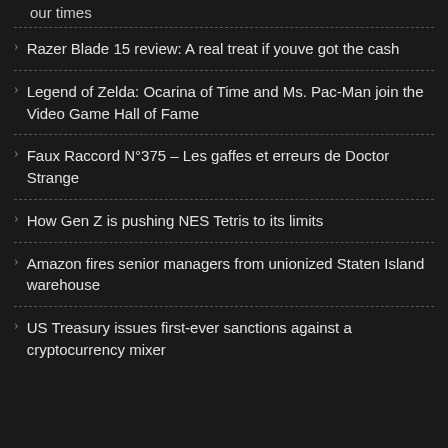our times
Razer Blade 15 review: A real treat if youve got the cash
Legend of Zelda: Ocarina of Time and Ms. Pac-Man join the Video Game Hall of Fame
Faux Raccord N°375 – Les gaffes et erreurs de Doctor Strange
How Gen Z is pushing NES Tetris to its limits
Amazon fires senior managers from unionized Staten Island warehouse
US Treasury issues first-ever sanctions against a cryptocurrency mixer